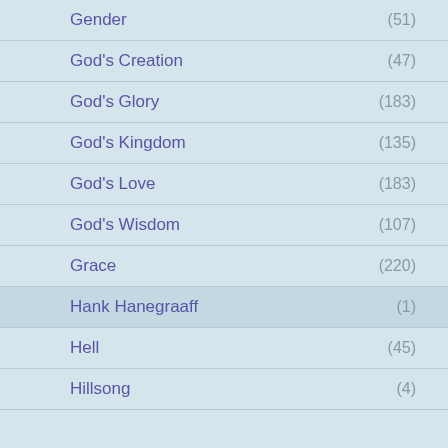Gender (51)
God's Creation (47)
God's Glory (183)
God's Kingdom (135)
God's Love (183)
God's Wisdom (107)
Grace (220)
Hank Hanegraaff (1)
Hell (45)
Hillsong (4)